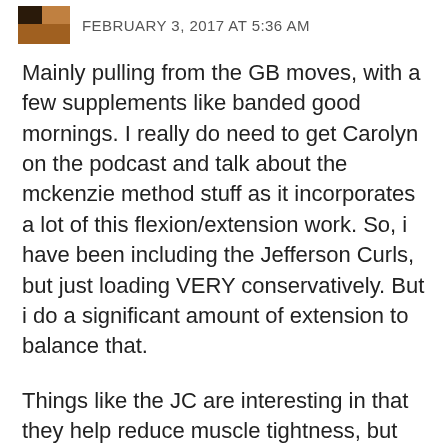FEBRUARY 3, 2017 AT 5:36 AM
Mainly pulling from the GB moves, with a few supplements like banded good mornings. I really do need to get Carolyn on the podcast and talk about the mckenzie method stuff as it incorporates a lot of this flexion/extension work. So, i have been including the Jefferson Curls, but just loading VERY conservatively. But i do a significant amount of extension to balance that.
Things like the JC are interesting in that they help reduce muscle tightness, but they CAN occasionally get some of the disk symptoms going But if I sandwich